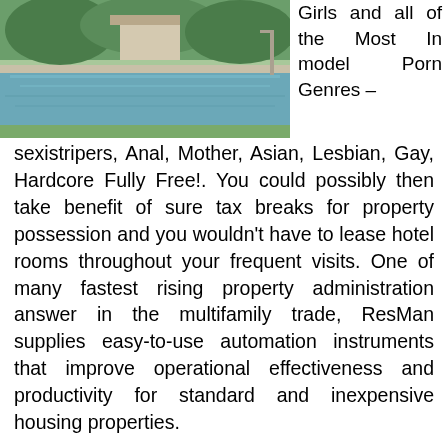[Figure (photo): Outdoor swimming pool area with green lawn and trees in the background]
Girls and all of the Most In model Porn Genres – sexistripers, Anal, Mother, Asian, Lesbian, Gay, Hardcore Fully Free!. You could possibly then take benefit of sure tax breaks for property possession and you wouldn't have to lease hotel rooms throughout your frequent visits. One of many fastest rising property administration answer in the multifamily trade, ResMan supplies easy-to-use automation instruments that improve operational effectiveness and productivity for standard and inexpensive housing properties.
A typical condominium project seems to be like an residence constructing, but everyone owns their apartment, and everybody contributes to the maintenance of widespread areas. A copy of the courtroom's declaration underneath paragraph (2) of this subsection (c) shall be recorded by the municipality within